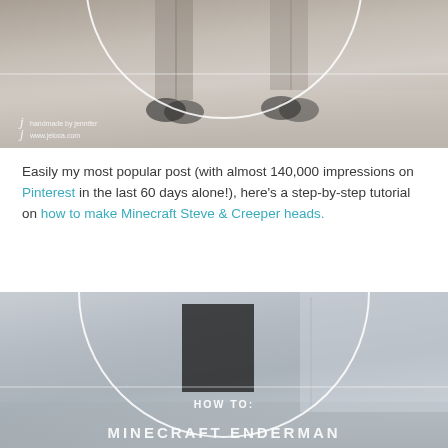[Figure (photo): Photo of people's legs/feet standing on a floor, with a white circle overlay and watermark text 'handmade by jennifer / www.jeloca.com']
Easily my most popular post (with almost 140,000 impressions on Pinterest in the last 60 days alone!), here's a step-by-step tutorial on how to make Minecraft Steve & Creeper heads.
[Figure (photo): Photo showing Minecraft Enderman box/costume head prop with circular overlay, text overlay reading 'HOW TO:' and 'MINECRAFT ENDERMAN']